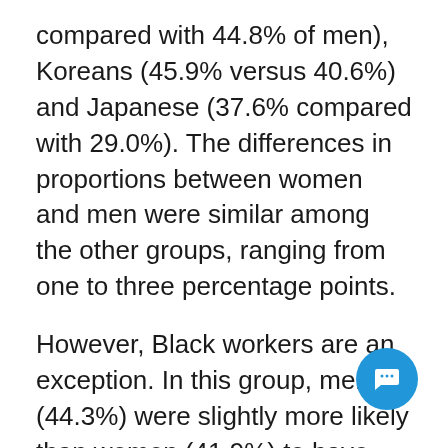compared with 44.8% of men), Koreans (45.9% versus 40.6%) and Japanese (37.6% compared with 29.0%). The differences in proportions between women and men were similar among the other groups, ranging from one to three percentage points.
However, Black workers are an exception. In this group, men (44.3%) were slightly more likely than women (41.9%) to have received the CERB. A particularly high proportion of Black women worked in essential occupations in the health care sector (around 30% in 2016), which may have had